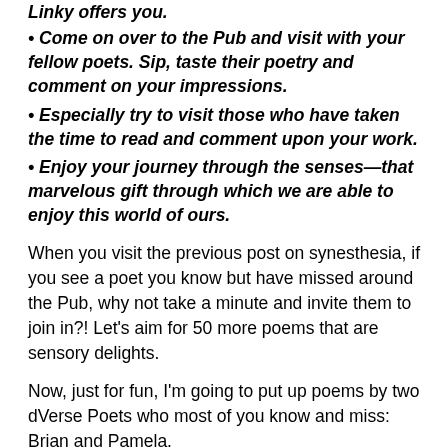Linky offers you.
• Come on over to the Pub and visit with your fellow poets. Sip, taste their poetry and comment on your impressions.
• Especially try to visit those who have taken the time to read and comment upon your work.
• Enjoy your journey through the senses—that marvelous gift through which we are able to enjoy this world of ours.
When you visit the previous post on synesthesia, if you see a poet you know but have missed around the Pub, why not take a minute and invite them to join in?! Let's aim for 50 more poems that are sensory delights.
Now, just for fun, I'm going to put up poems by two dVerse Poets who most of you know and miss: Brian and Pamela.